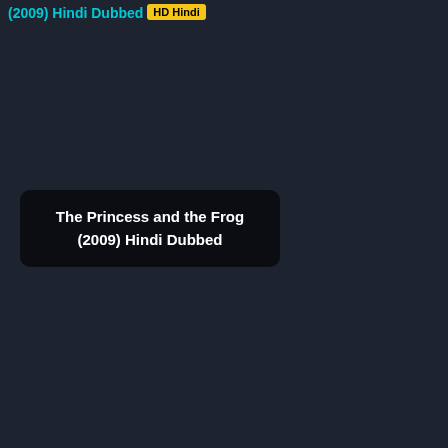(2009) Hindi Dubbed [HD Hindi]
The Princess and the Frog (2009) Hindi Dubbed